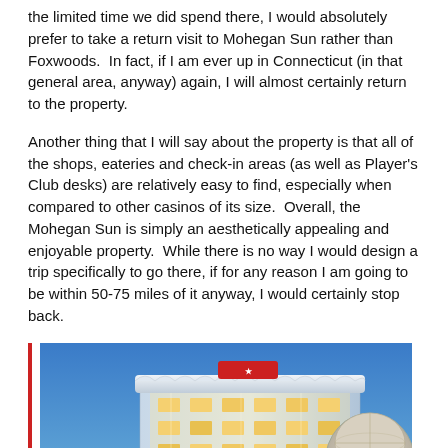the limited time we did spend there, I would absolutely prefer to take a return visit to Mohegan Sun rather than Foxwoods.  In fact, if I am ever up in Connecticut (in that general area, anyway) again, I will almost certainly return to the property.
Another thing that I will say about the property is that all of the shops, eateries and check-in areas (as well as Player's Club desks) are relatively easy to find, especially when compared to other casinos of its size.  Overall, the Mohegan Sun is simply an aesthetically appealing and enjoyable property.  While there is no way I would design a trip specifically to go there, if for any reason I am going to be within 50-75 miles of it anyway, I would certainly stop back.
[Figure (photo): Exterior photo of Mohegan Sun casino building at dusk/night, illuminated with warm yellow lights against a blue sky. The building is multi-story with a curved/circular architectural feature on the right side.]